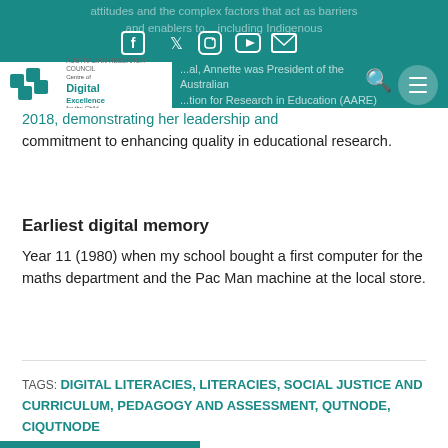attitudes and the complex factors that act as barriers and enablers to... including Indigenous
...al, Annette was President of the Australian ...tion for Research in Education (AARE)... 2018, demonstrating her leadership and commitment to enhancing quality in educational research.
Earliest digital memory
Year 11 (1980) when my school bought a first computer for the maths department and the Pac Man machine at the local store.
TAGS: DIGITAL LITERACIES, LITERACIES, SOCIAL JUSTICE AND CURRICULUM, PEDAGOGY AND ASSESSMENT, QUTNODE, CIQUTNODE